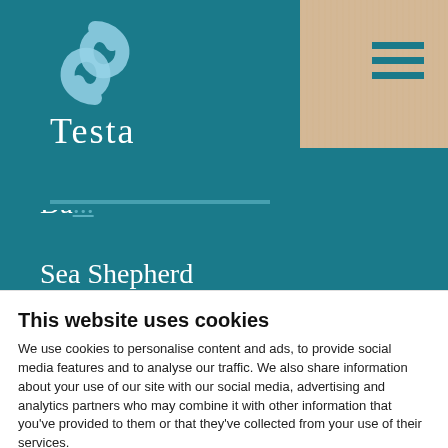[Figure (logo): Testa logo with teal swirl icon and 'Testa' wordmark on teal background]
Da...
Sea Shepherd
rePurpose
Affiliates
Resellers
This website uses cookies
We use cookies to personalise content and ads, to provide social media features and to analyse our traffic. We also share information about your use of our site with our social media, advertising and analytics partners who may combine it with other information that you've provided to them or that they've collected from your use of their services.
OK
Show details